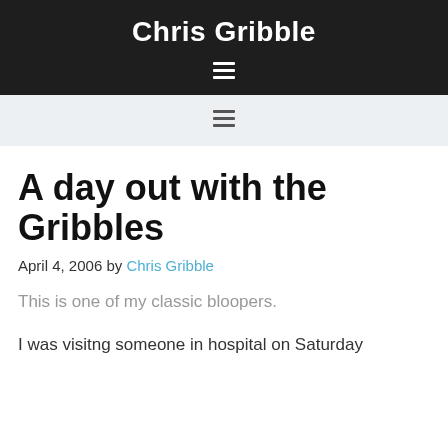Chris Gribble
A day out with the Gribbles
April 4, 2006 by Chris Gribble
This is one of my classic bloopers.
I was visitng someone in hospital on Saturday